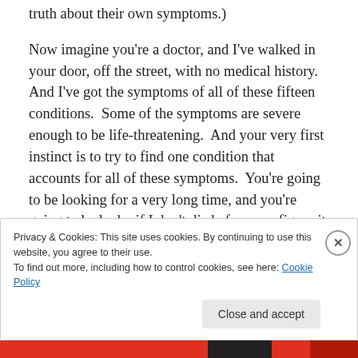truth about their own symptoms.)
Now imagine you're a doctor, and I've walked in your door, off the street, with no medical history.  And I've got the symptoms of all of these fifteen conditions.  Some of the symptoms are severe enough to be life-threatening.  And your very first instinct is to try to find one condition that accounts for all of these symptoms.  You're going to be looking for a very long time, and you're going to be lucky if I don't die before you figure it out.
GET THE APP
Privacy & Cookies: This site uses cookies. By continuing to use this website, you agree to their use.
To find out more, including how to control cookies, see here: Cookie Policy